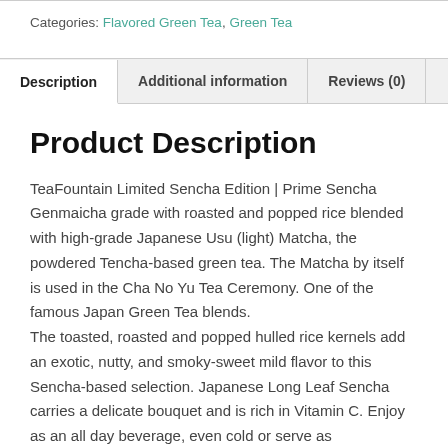Categories: Flavored Green Tea, Green Tea
Description | Additional information | Reviews (0)
Product Description
TeaFountain Limited Sencha Edition | Prime Sencha Genmaicha grade with roasted and popped rice blended with high-grade Japanese Usu (light) Matcha, the powdered Tencha-based green tea. The Matcha by itself is used in the Cha No Yu Tea Ceremony. One of the famous Japan Green Tea blends.
The toasted, roasted and popped hulled rice kernels add an exotic, nutty, and smoky-sweet mild flavor to this Sencha-based selection. Japanese Long Leaf Sencha carries a delicate bouquet and is rich in Vitamin C. Enjoy as an all day beverage, even cold or serve as